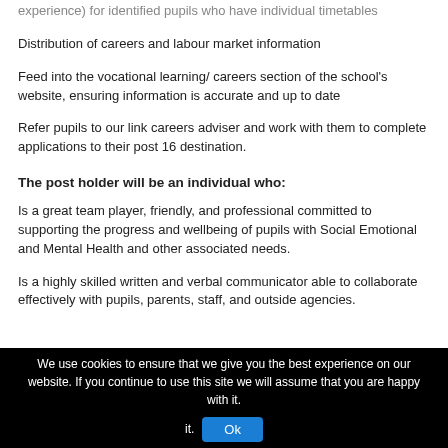experience) for identified pupils who have individual timetables
Distribution of careers and labour market information
Feed into the vocational learning/ careers section of the school's website, ensuring information is accurate and up to date
Refer pupils to our link careers adviser and work with them to complete applications to their post 16 destination.
The post holder will be an individual who:
Is a great team player, friendly, and professional committed to supporting the progress and wellbeing of pupils with Social Emotional and Mental Health and other associated needs.
Is a highly skilled written and verbal communicator able to collaborate effectively with pupils, parents, staff, and outside agencies.
We use cookies to ensure that we give you the best experience on our website. If you continue to use this site we will assume that you are happy with it. Ok